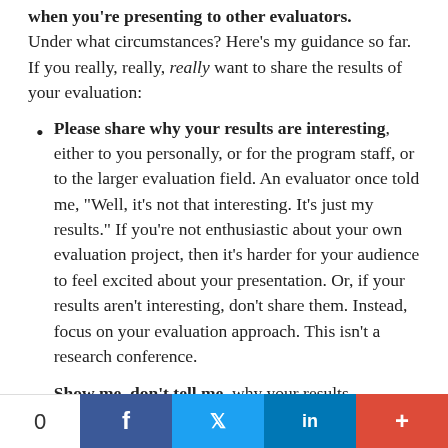when you're presenting to other evaluators. Under what circumstances? Here's my guidance so far. If you really, really, really want to share the results of your evaluation:
Please share why your results are interesting, either to you personally, or for the program staff, or to the larger evaluation field. An evaluator once told me, “Well, it’s not that interesting. It’s just my results.” If you’re not enthusiastic about your own evaluation project, then it’s harder for your audience to feel excited about your presentation. Or, if your results aren’t interesting, don't share them. Instead, focus on your evaluation approach. This isn’t a research conference.
Show me, don't tell me, why your results
0  f  t  in  +